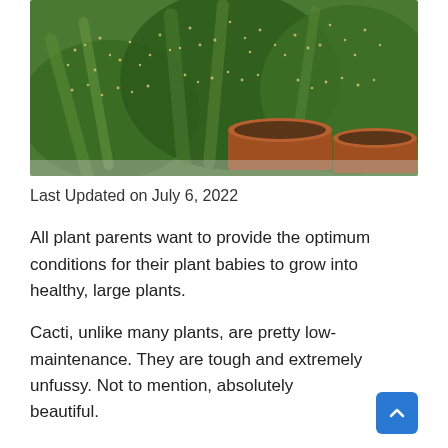[Figure (photo): Close-up photo of several green cacti with yellow-white spines in terracotta/brown pots, shot from above at an angle.]
Last Updated on July 6, 2022
All plant parents want to provide the optimum conditions for their plant babies to grow into healthy, large plants.
Cacti, unlike many plants, are pretty low-maintenance. They are tough and extremely unfussy. Not to mention, absolutely beautiful.